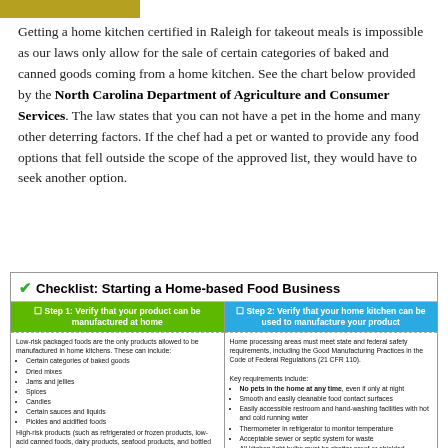Getting a home kitchen certified in Raleigh for takeout meals is impossible as our laws only allow for the sale of certain categories of baked and canned goods coming from a home kitchen. See the chart below provided by the North Carolina Department of Agriculture and Consumer Services. The law states that you can not have a pet in the home and many other deterring factors. If the chef had a pet or wanted to provide any food options that fell outside the scope of the approved list, they would have to seek another option.
[Figure (infographic): Checklist: Starting a Home-based Food Business. Two-column checklist with Step 1 (green header): Verify that your product can be manufactured at home — describes low-risk packaged foods allowed, lists categories (baked goods, jams and jellies, candies, dried mixes, spices, certain sauces and liquids, pickles and acidified foods). High-risk products must be made in a non-home based commercial facility. Step 2 (blue header): Verify that your home kitchen can be used to manufacture your product — describes Good Manufacturing Practices (21 CFR 110). Key requirements include no pets, smooth surfaces, restroom access, thermometer, sewer/septic, shatter-proof bulbs.]